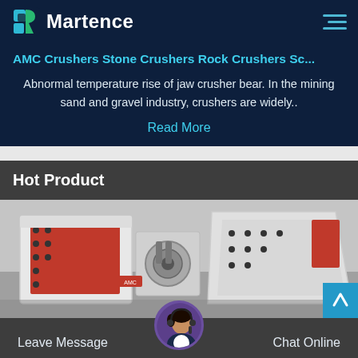Martence
AMC Crushers Stone Crushers Rock Crushers Sc...
Abnormal temperature rise of jaw crusher bear. In the mining sand and gravel industry, crushers are widely..
Read More
Hot Product
[Figure (photo): Industrial hammer crusher / impact crusher machine, white and red colored, photographed in a factory setting]
Leave Message
Chat Online